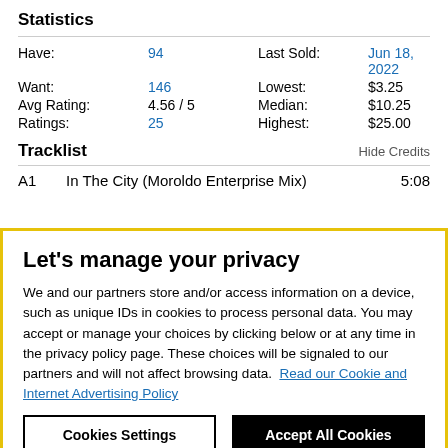Statistics
| Have: | 94 | Last Sold: | Jun 18, 2022 |
| Want: | 146 | Lowest: | $3.25 |
| Avg Rating: | 4.56 / 5 | Median: | $10.25 |
| Ratings: | 25 | Highest: | $25.00 |
Tracklist
Hide Credits
A1    In The City (Moroldo Enterprise Mix)    5:08
Let's manage your privacy
We and our partners store and/or access information on a device, such as unique IDs in cookies to process personal data. You may accept or manage your choices by clicking below or at any time in the privacy policy page. These choices will be signaled to our partners and will not affect browsing data. Read our Cookie and Internet Advertising Policy
Cookies Settings
Accept All Cookies